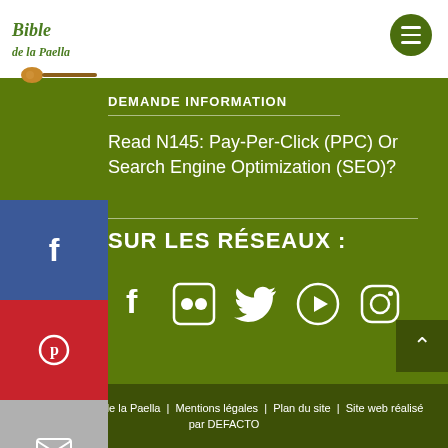Bible de la Paella
DEMANDE INFORMATION
Read N145: Pay-Per-Click (PPC) Or Search Engine Optimization (SEO)?
SUR LES RÉSEAUX :
[Figure (infographic): Social media icons row: Facebook, Flickr, Twitter, YouTube, Instagram]
©2011 La Bible de la Paella | Mentions légales | Plan du site | Site web réalisé par DEFACTO